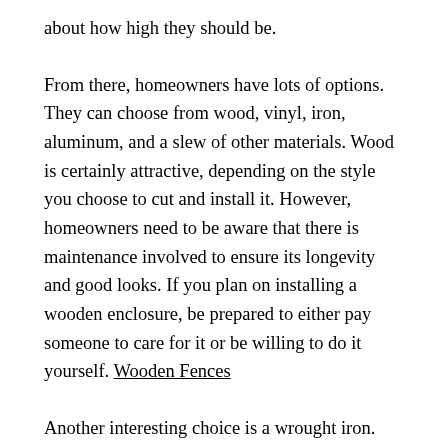about how high they should be.
From there, homeowners have lots of options. They can choose from wood, vinyl, iron, aluminum, and a slew of other materials. Wood is certainly attractive, depending on the style you choose to cut and install it. However, homeowners need to be aware that there is maintenance involved to ensure its longevity and good looks. If you plan on installing a wooden enclosure, be prepared to either pay someone to care for it or be willing to do it yourself. Wooden Fences
Another interesting choice is a wrought iron. This looks best on properties of stately homes. It may be more expensive, but it is extremely beautiful and can last a lifetime if it is cared for properly. Furthermore, it is a highly knowable material that can be designed according to one's needs for a more tailored or custom look. Iron